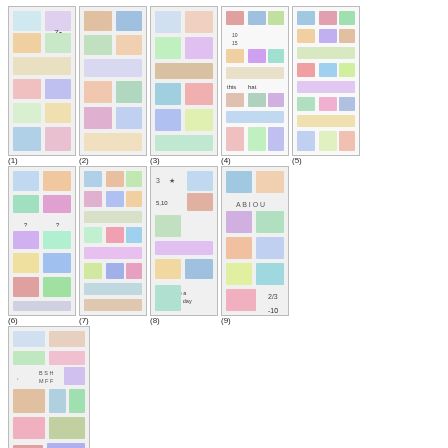[Figure (illustration): Grid of 10 numbered thumbnail images showing vocabulary picture sheets (basic vocab pix 1-3, basic nounsx3 1-4, early elem vocab 1-3). Each thumbnail is a small preview of a multi-image vocabulary worksheet.]
(1) basic vocab pix 1 odt PDF;      (2) basic vocab pix 2 odt PDF;      (3) basic vocab pix 3 odt ;      (4) basic nounsx3 1 odt PDF;      (5) basic nounsx3 2  PDF;      (6) basic nounsx3 3 odt PDF;      (7) basic nounsx3 4 odt PDF;      (8) early elem vocab 1 odt PDF;      (9) early elem vocab 2 odt ;      (10) early elem vocab 3 odt PDF